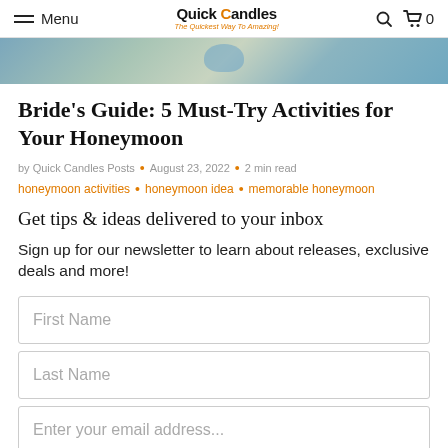Menu | Quick Candles - The Quickest Way To Amazing! | 0
[Figure (photo): Hero image strip showing outdoor/nature scene with blue-green tones]
Bride's Guide: 5 Must-Try Activities for Your Honeymoon
by Quick Candles Posts • August 23, 2022 • 2 min read
honeymoon activities • honeymoon idea • memorable honeymoon
Get tips & ideas delivered to your inbox
Sign up for our newsletter to learn about releases, exclusive deals and more!
First Name
Last Name
Enter your email address...